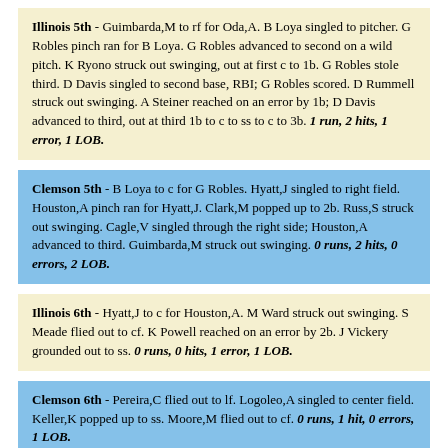Illinois 5th - Guimbarda,M to rf for Oda,A. B Loya singled to pitcher. G Robles pinch ran for B Loya. G Robles advanced to second on a wild pitch. K Ryono struck out swinging, out at first c to 1b. G Robles stole third. D Davis singled to second base, RBI; G Robles scored. D Rummell struck out swinging. A Steiner reached on an error by 1b; D Davis advanced to third, out at third 1b to c to ss to c to 3b. 1 run, 2 hits, 1 error, 1 LOB.
Clemson 5th - B Loya to c for G Robles. Hyatt,J singled to right field. Houston,A pinch ran for Hyatt,J. Clark,M popped up to 2b. Russ,S struck out swinging. Cagle,V singled through the right side; Houston,A advanced to third. Guimbarda,M struck out swinging. 0 runs, 2 hits, 0 errors, 2 LOB.
Illinois 6th - Hyatt,J to c for Houston,A. M Ward struck out swinging. S Meade flied out to cf. K Powell reached on an error by 2b. J Vickery grounded out to ss. 0 runs, 0 hits, 1 error, 1 LOB.
Clemson 6th - Pereira,C flied out to lf. Logoleo,A singled to center field. Keller,K popped up to ss. Moore,M flied out to cf. 0 runs, 1 hit, 0 errors, 1 LOB.
Illinois 7th - B Loya grounded out to ss. K Ryono struck out swinging. D Davis singled to right field, advanced to second. D Rummell grounded out to 2b. 0 runs, 1 hit, 0 errors, 1 LOB.